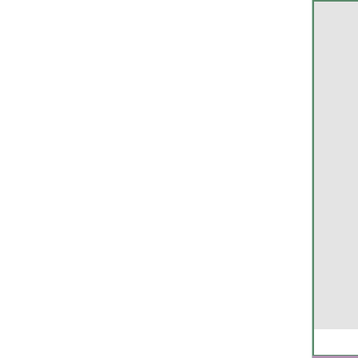[Figure (illustration): An image panel with a green border showing what appears to be a character portrait of 16th Prince Xander. The main image area is light gray (image content cropped/not visible in this view). At the bottom of the panel is a bold caption reading '16th Prince Xander'. Below the panel is a purple/mauve colored strip.]
16th Prince Xander
Order's Prospect training, though is already shaping up be the new poster-boy since Prince Frederick became a Urlan. Bei large fram young ma Xander spends mo of his time going from tourname tourname